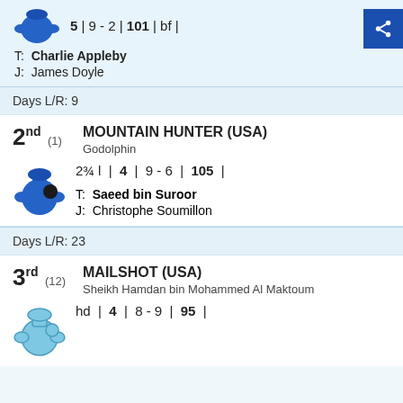5 | 9 - 2 | 101 | bf |
T: Charlie Appleby
J: James Doyle
Days L/R: 9
2nd (1) MOUNTAIN HUNTER (USA) Godolphin 2¾ l | 4 | 9 - 6 | 105 |
T: Saeed bin Suroor
J: Christophe Soumillon
Days L/R: 23
3rd (12) MAILSHOT (USA) Sheikh Hamdan bin Mohammed Al Maktoum hd | 4 | 8 - 9 | 95 |